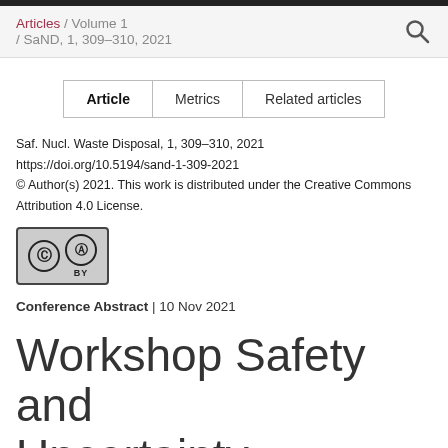Articles / Volume 1 / SaND, 1, 309–310, 2021
| Article | Metrics | Related articles |
| --- | --- | --- |
Saf. Nucl. Waste Disposal, 1, 309–310, 2021
https://doi.org/10.5194/sand-1-309-2021
© Author(s) 2021. This work is distributed under the Creative Commons Attribution 4.0 License.
[Figure (logo): Creative Commons Attribution (CC BY) license badge]
Conference Abstract | 10 Nov 2021
Workshop Safety and Uncertainty